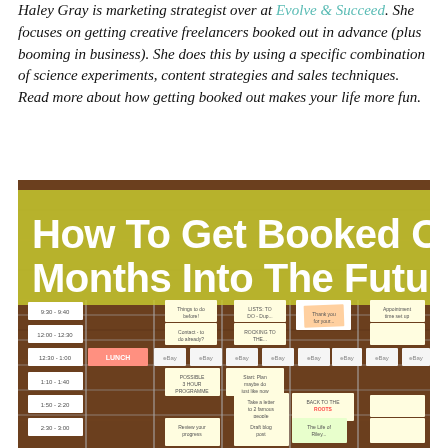Haley Gray is marketing strategist over at Evolve & Succeed. She focuses on getting creative freelancers booked out in advance (plus booming in business). She does this by using a specific combination of science experiments, content strategies and sales techniques. Read more about how getting booked out makes your life more fun.
[Figure (photo): A wooden board with sticky notes arranged in a calendar/schedule grid. Overlaid text reads 'How To Get Booked Out 6 Months Into The Future' in white on a yellow-green semi-transparent banner.]